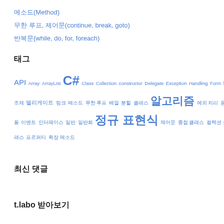메소드(Method)
무한 루프, 제어문(continue, break, goto)
반복문(while, do, for, foreach)
태그
[Figure (infographic): Tag cloud with Korean and English programming-related tags in various sizes. Includes: API, Array, ArrayList, C#, Class, Collection, constructor, Delegate, Exception, Handling, Form, Hashtable, infinite, Interface, LINQ, Loop, Method, MFC, object, Property, Queue, Regex, Stack, structures, visualstudio, 구조체, 델리게이트, 링크, 메소드, 무한 루프, 배열, 분할, 클래스, 알고리즘, 예외 처리, 응용, 이벤트, 인터페이스, 일반, 일반화, 정규 표현식, 제어문, 중첩 클래스, 컬렉션 클래스, 프로퍼티, 확장 메소드]
최신 댓글
t.labo 받아보기